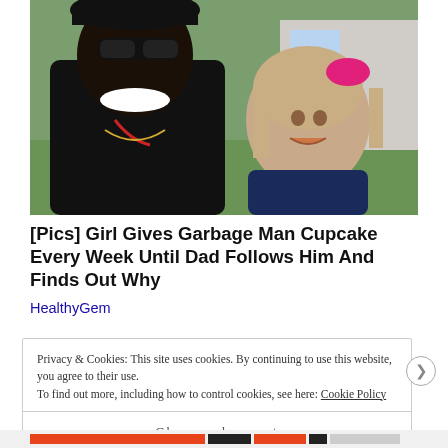[Figure (photo): A man wearing sunglasses and a black jacket smiling alongside a young girl with a pink bow in her hair, taken outdoors]
[Pics] Girl Gives Garbage Man Cupcake Every Week Until Dad Follows Him And Finds Out Why
HealthyGem
Privacy & Cookies: This site uses cookies. By continuing to use this website, you agree to their use.
To find out more, including how to control cookies, see here: Cookie Policy
Close and accept